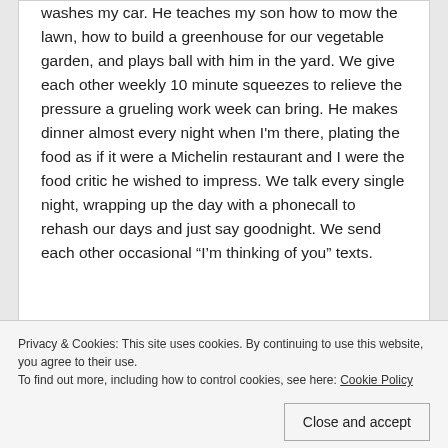washes my car. He teaches my son how to mow the lawn, how to build a greenhouse for our vegetable garden, and plays ball with him in the yard. We give each other weekly 10 minute squeezes to relieve the pressure a grueling work week can bring. He makes dinner almost every night when I'm there, plating the food as if it were a Michelin restaurant and I were the food critic he wished to impress. We talk every single night, wrapping up the day with a phonecall to rehash our days and just say goodnight. We send each other occasional “I’m thinking of you” texts.
Privacy & Cookies: This site uses cookies. By continuing to use this website, you agree to their use.
To find out more, including how to control cookies, see here: Cookie Policy
Close and accept
romance in our relationship.